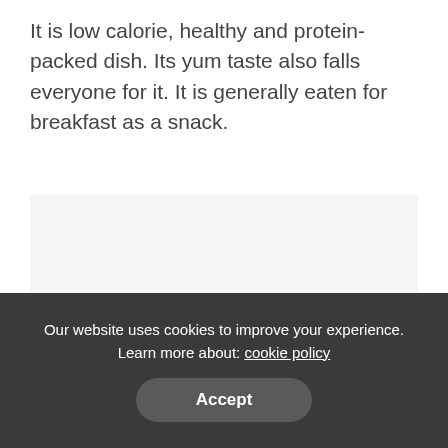It is low calorie, healthy and protein-packed dish. Its yum taste also falls everyone for it. It is generally eaten for breakfast as a snack.
[Figure (photo): Image placeholder area with light gray background]
Our website uses cookies to improve your experience. Learn more about: cookie policy
Accept